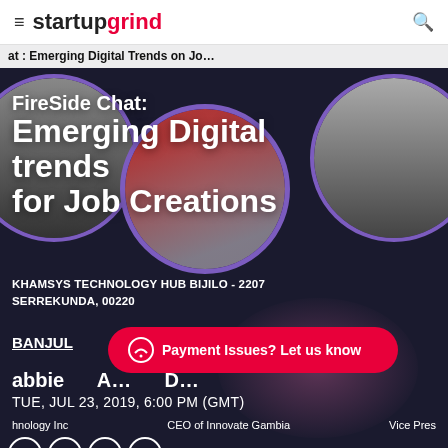startup grind
FireSide Chat: Emerging Digital trends for Job Creations
KHAMSYS TECHNOLOGY HUB BIJILO - 2207 SERREKUNDA, 00220
BANJUL
[Figure (infographic): Red pill-shaped button with chat icon: Payment Issues? Let us know]
abbie  A  D
TUE, JUL 23, 2019, 6:00 PM (GMT)
hnology Inc   CEO of Innovate Gambia   Vice Pres
@AwamaryKhan  @b